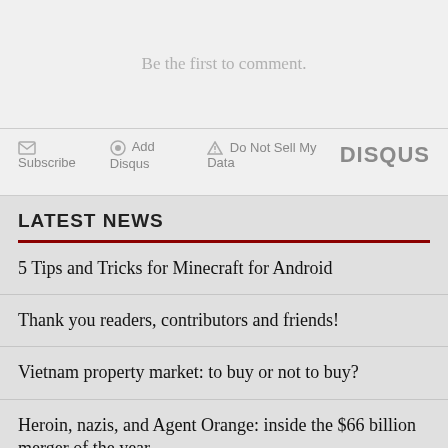Be the first to comment.
Subscribe  Add Disqus  Do Not Sell My Data  DISQUS
LATEST NEWS
5 Tips and Tricks for Minecraft for Android
Thank you readers, contributors and friends!
Vietnam property market: to buy or not to buy?
Heroin, nazis, and Agent Orange: inside the $66 billion merger of the year